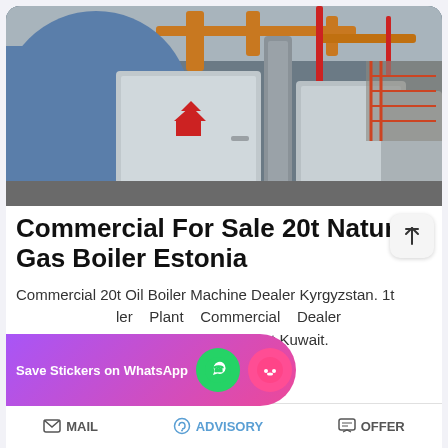[Figure (photo): Industrial boiler room showing large silver/stainless steel boilers with orange pipes and red accents, inside a factory or plant facility.]
Commercial For Sale 20t Natural Gas Boiler Estonia
Commercial 20t Oil Boiler Machine Dealer Kyrgyzstan. 1t ... ler Plant Commercial Dealer ... Gas boiler Industrial Agent Kuwait.
MAIL   ADVISORY   OFFER